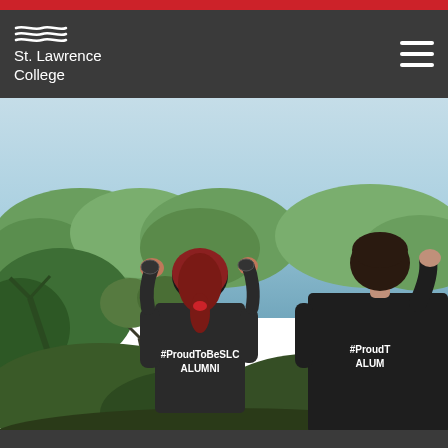St. Lawrence College
[Figure (photo): Two people wearing black '#ProudToBeSLC ALUMNI' t-shirts viewed from behind, looking out over a waterway with trees and boats visible in the background on a clear day.]